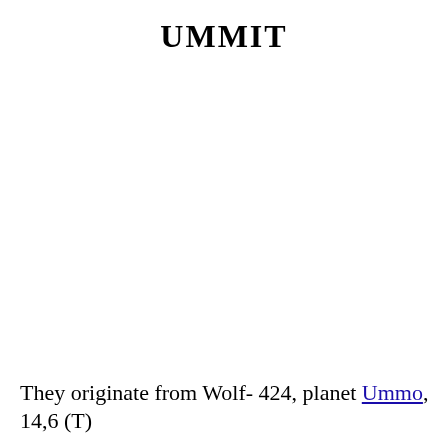UMMIT
They originate from Wolf- 424, planet Ummo, 14,6 (T)